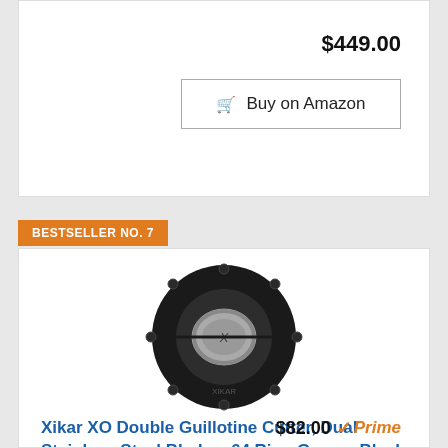$449.00
Buy on Amazon
BESTSELLER NO. 7
[Figure (photo): Xikar XO Double Guillotine Cutter, circular black body with stainless steel blades visible, front view]
Xikar XO Double Guillotine Cutter, Dual Stainless Steel Blades, 64 Ring Gauge, Black
$82.00 Prime